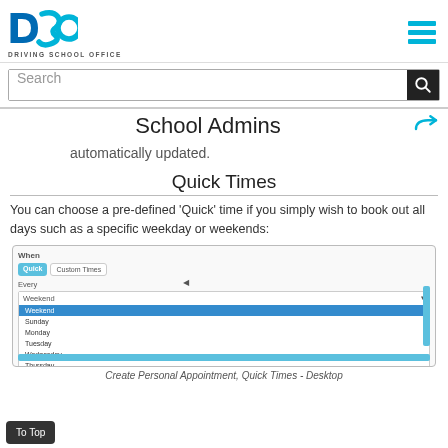DSO DRIVING SCHOOL OFFICE
Search
School Admins
automatically updated.
Quick Times
You can choose a pre-defined 'Quick' time if you simply wish to book out all days such as a specific weekday or weekends:
[Figure (screenshot): Screenshot of a 'When' section with Quick and Custom Times buttons, a dropdown showing options: Weekend (selected/highlighted), Sunday, Monday, Tuesday, Wednesday, Thursday, and more. A cursor is visible.]
Create Personal Appointment, Quick Times - Desktop